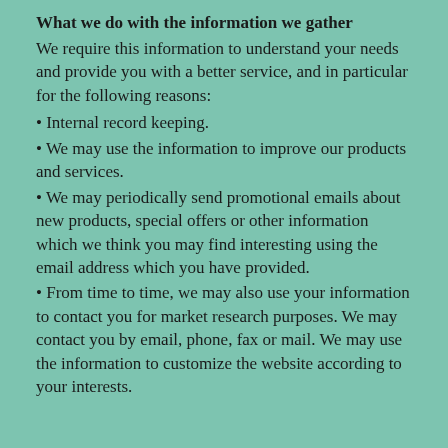What we do with the information we gather
We require this information to understand your needs and provide you with a better service, and in particular for the following reasons:
Internal record keeping.
We may use the information to improve our products and services.
We may periodically send promotional emails about new products, special offers or other information which we think you may find interesting using the email address which you have provided.
From time to time, we may also use your information to contact you for market research purposes. We may contact you by email, phone, fax or mail. We may use the information to customize the website according to your interests.